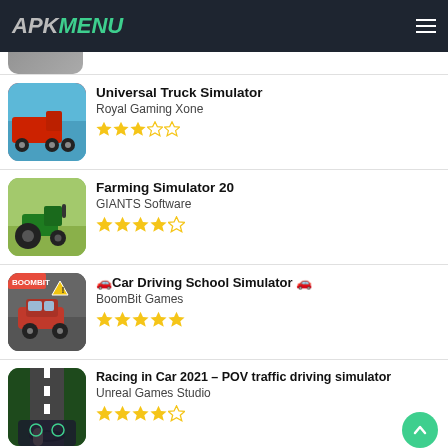APK MENU
[Figure (screenshot): Partially visible app thumbnail at top of list]
Universal Truck Simulator
Royal Gaming Xone
3/5 stars
Farming Simulator 20
GIANTS Software
4/5 stars
🚗Car Driving School Simulator 🚗
BoomBit Games
5/5 stars
Racing in Car 2021 – POV traffic driving simulator
Unreal Games Studio
4/5 stars